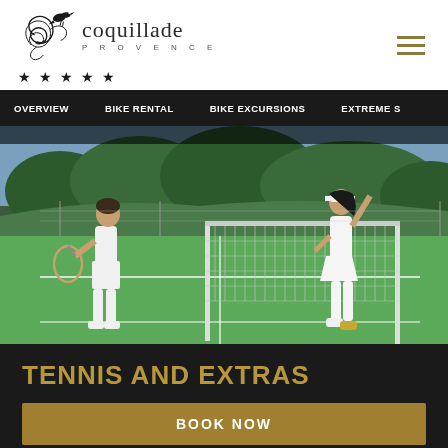[Figure (logo): Coquillade Provence logo with bird and swirl ornament, five stars below]
OVERVIEW   BIKE RENTAL   BIKE EXCURSIONS   EXTREME S
[Figure (photo): Two tennis players in white on an outdoor court with a net between them, green Provence landscape in background]
TENNIS AND EXTRAS
BOOK NOW